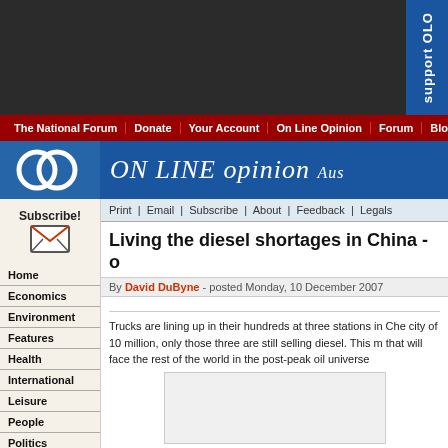[Figure (screenshot): Dark top banner of website with support tab on right side]
The National Forum | Donate | Your Account | On Line Opinion | Forum | Blogs | Polling
[Figure (logo): ON LINE opinion Australia logo with two interlocking circles]
Print | Email | Subscribe | About | Feedback | Legals
Living the diesel shortages in China - o
By David DuByne - posted Monday, 10 December 2007
Trucks are lining up in their hundreds at three stations in Che city of 10 million, only those three are still selling diesel. This m that will face the rest of the world in the post-peak oil universe
Subscribe!
Home
Economics
Environment
Features
Health
International
Leisure
People
Politics
Technology